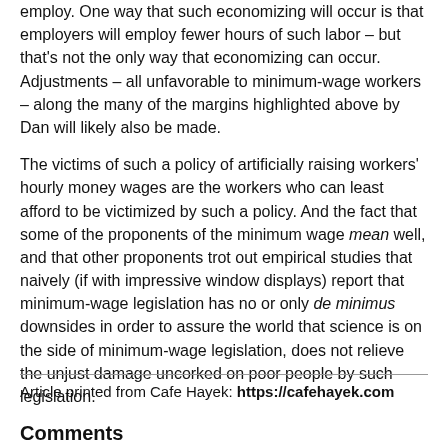employ.  One way that such economizing will occur is that employers will employ fewer hours of such labor – but that's not the only way that economizing can occur.  Adjustments – all unfavorable to minimum-wage workers – along the many of the margins highlighted above by Dan will likely also be made.
The victims of such a policy of artificially raising workers' hourly money wages are the workers who can least afford to be victimized by such a policy.  And the fact that some of the proponents of the minimum wage mean well, and that other proponents trot out empirical studies that naively (if with impressive window displays) report that minimum-wage legislation has no or only de minimus downsides in order to assure the world that science is on the side of minimum-wage legislation, does not relieve the unjust damage uncorked on poor people by such legislation.
Comments
Article printed from Cafe Hayek: https://cafehayek.com